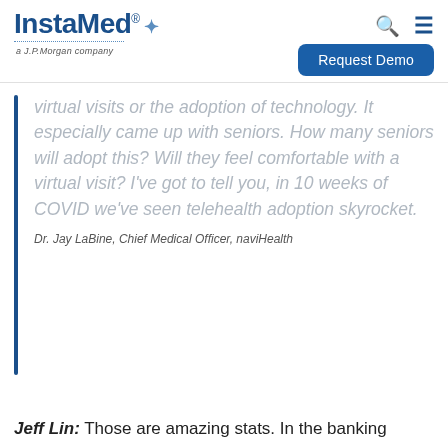[Figure (logo): InstaMed logo with 'a J.P.Morgan company' tagline, search and menu icons, and a 'Request Demo' button]
virtual visits or the adoption of technology. It especially came up with seniors. How many seniors will adopt this? Will they feel comfortable with a virtual visit? I've got to tell you, in 10 weeks of COVID we've seen telehealth adoption skyrocket.
Dr. Jay LaBine, Chief Medical Officer, naviHealth
Jeff Lin: Those are amazing stats. In the banking